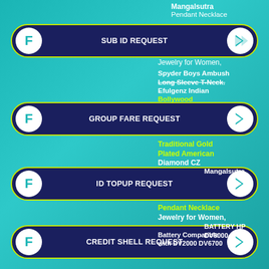[Figure (screenshot): App interface showing menu buttons: SUB ID REQUEST, GROUP FARE REQUEST, ID TOPUP REQUEST, CREDIT SHELL REQUEST, CS SHELL ADJUSTMENT REQUEST, STATEMENT REQUEST, each in a dark navy pill-shaped button with F logo on left and cursor icon on right, overlaid with product listing text]
Mangalsutra Pendant Necklace Jewelry for Women, Spyder Boys Ambush Long Sleeve T-Neck. Efulgenz Indian Bollywood Traditional Gold Plated American Diamond CZ Mangalsutra Pendant Necklace Jewelry for Women, BATTERY HP DV6000 Battery Compatible with DV2000 DV6700 DV6800 DV2500 DV6500 4400mAh/48Wh DR 441425-001 HSTNN-DB32 HSTNN-DB42 HSTNN-Q21C HSTNN-C17C
SUB ID REQUEST
GROUP FARE REQUEST
ID TOPUP REQUEST
CREDIT SHELL REQUEST
CS SHELL ADJUSTMENT REQUEST
STATEMENT REQUEST